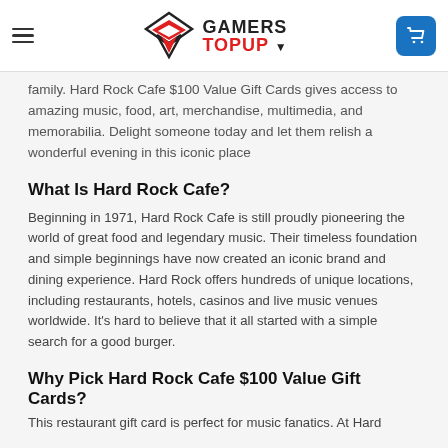Gamers Topup — navigation header with logo and cart
family. Hard Rock Cafe $100 Value Gift Cards gives access to amazing music, food, art, merchandise, multimedia, and memorabilia. Delight someone today and let them relish a wonderful evening in this iconic place
What Is Hard Rock Cafe?
Beginning in 1971, Hard Rock Cafe is still proudly pioneering the world of great food and legendary music. Their timeless foundation and simple beginnings have now created an iconic brand and dining experience. Hard Rock offers hundreds of unique locations, including restaurants, hotels, casinos and live music venues worldwide. It's hard to believe that it all started with a simple search for a good burger.
Why Pick Hard Rock Cafe $100 Value Gift Cards?
This restaurant gift card is perfect for music fanatics. At Hard